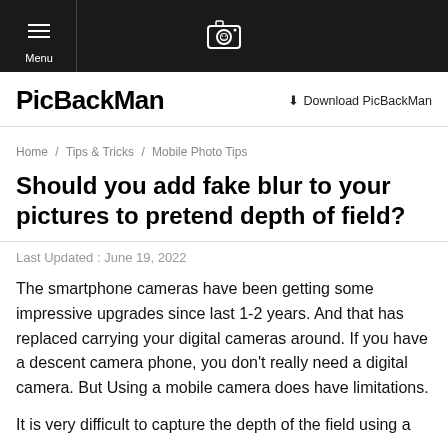Menu | [camera icon]
PicBackMan
Download PicBackMan
Home / Tips & Tricks / Mobile Photo Tips
Should you add fake blur to your pictures to pretend depth of field?
Last Updated : June 19, 2022
The smartphone cameras have been getting some impressive upgrades since last 1-2 years. And that has replaced carrying your digital cameras around. If you have a descent camera phone, you don't really need a digital camera. But Using a mobile camera does have limitations.
It is very difficult to capture the depth of the field using a